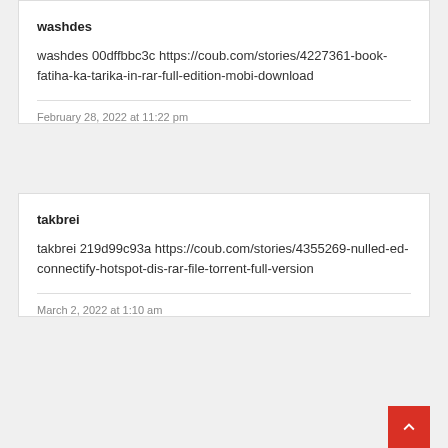washdes
washdes 00dffbbc3c https://coub.com/stories/4227361-book-fatiha-ka-tarika-in-rar-full-edition-mobi-download
February 28, 2022 at 11:22 pm
takbrei
takbrei 219d99c93a https://coub.com/stories/4355269-nulled-ed-connectify-hotspot-dis-rar-file-torrent-full-version
March 2, 2022 at 1:10 am